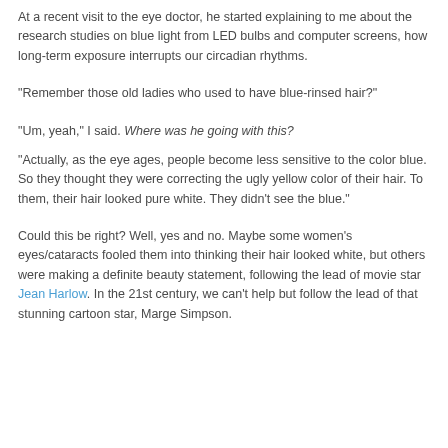At a recent visit to the eye doctor, he started explaining to me about the research studies on blue light from LED bulbs and computer screens, how long-term exposure interrupts our circadian rhythms.
"Remember those old ladies who used to have blue-rinsed hair?"
"Um, yeah," I said. Where was he going with this?
"Actually, as the eye ages, people become less sensitive to the color blue. So they thought they were correcting the ugly yellow color of their hair. To them, their hair looked pure white. They didn't see the blue."
Could this be right? Well, yes and no. Maybe some women's eyes/cataracts fooled them into thinking their hair looked white, but others were making a definite beauty statement, following the lead of movie star Jean Harlow. In the 21st century, we can't help but follow the lead of that stunning cartoon star, Marge Simpson.